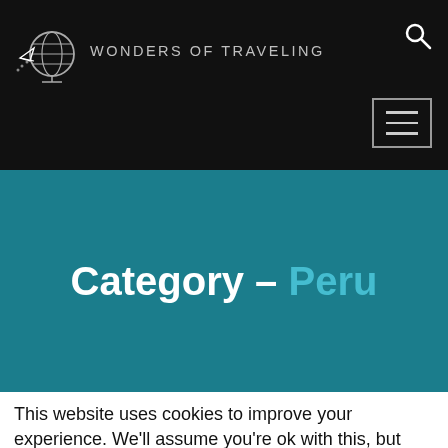WONDERS OF TRAVELING
[Figure (logo): Wonders of Traveling logo with globe and paper plane icon, text reads WONDERS OF TRAVELING]
Category – Peru
This website uses cookies to improve your experience. We'll assume you're ok with this, but you can opt-out if you wish. Accept Read More